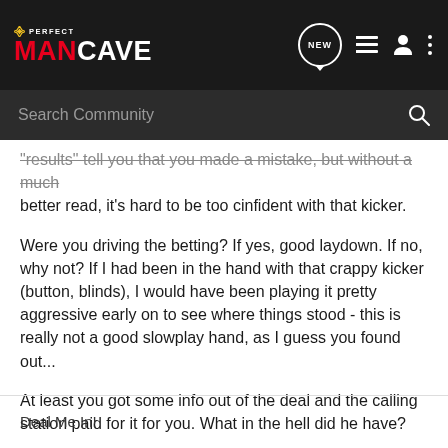PERFECT MANCAVE
results tell you that you made a mistake, but without a much better read, it's hard to be too cinfident with that kicker.
Were you driving the betting? If yes, good laydown. If no, why not? If I had been in the hand with that crappy kicker (button, blinds), I would have been playing it pretty aggressive early on to see where things stood - this is really not a good slowplay hand, as I guess you found out...
At least you got some info out of the deal and the calling station paid for it for you. What in the hell did he have?
Deal Me In!